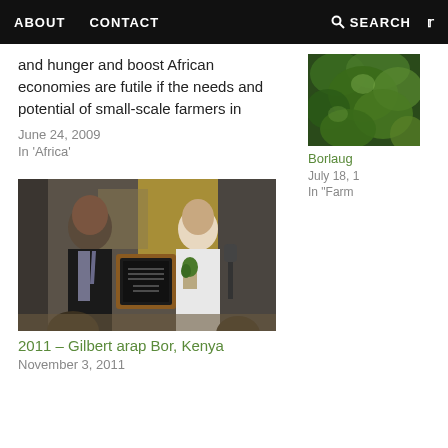ABOUT   CONTACT   SEARCH   Twitter
and hunger and boost African economies are futile if the needs and potential of small-scale farmers in
June 24, 2009
In 'Africa'
[Figure (photo): Photo of a man in dark suit and tie receiving a framed plaque award from an older man in white jacket, at a podium with a microphone, indoor event setting]
2011 – Gilbert arap Bor, Kenya
November 3, 2011
[Figure (photo): Partial view of green foliage/leaves on the right side column]
Borlaug
July 18, 1
In "Farm